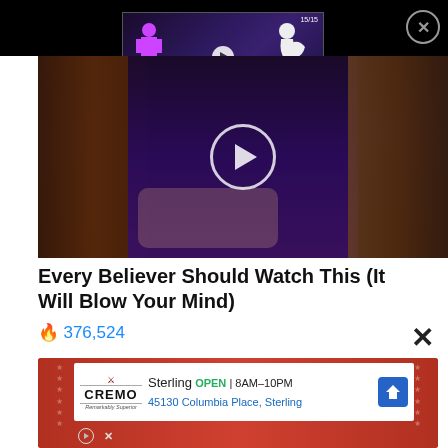[Figure (screenshot): Black top bar with close button (X in circle) and a small video thumbnail overlay showing animated figures (purple humanoid and white ape-like figure) with play button, counter 15/15 and 6/16. Below is a main video still showing people at a press conference with a large circular play button overlaid.]
Every Believer Should Watch This (It Will Blow Your Mind)
🔥 376,524
[Figure (screenshot): Advertisement banner with red background featuring CREMO logo. White inner box shows: Sterling OPEN | 8AM-10PM, 45130 Columbia Place, Sterling, with a blue navigation arrow icon. Below are small play and close (X) buttons.]